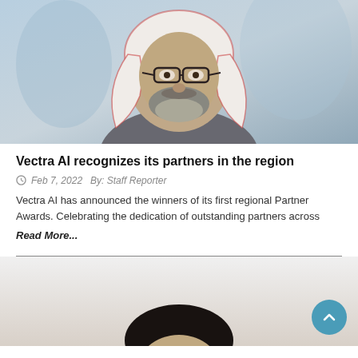[Figure (photo): A man wearing traditional Saudi Arabian dress (thobe and red-checkered ghutrah/keffiyeh) with glasses and a beard, photographed against a blueish background.]
Vectra AI recognizes its partners in the region
Feb 7, 2022   By: Staff Reporter
Vectra AI has announced the winners of its first regional Partner Awards. Celebrating the dedication of outstanding partners across
Read More...
[Figure (photo): Partial view of a man's head with dark hair, appearing at the bottom of the page, only the top portion of the face visible.]